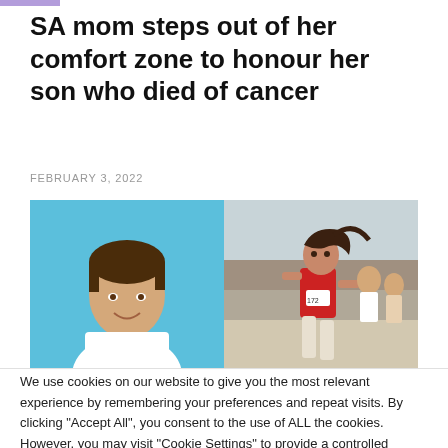SA mom steps out of her comfort zone to honour her son who died of cancer
FEBRUARY 3, 2022
[Figure (photo): Split photo: left side shows an older woman smiling against a blue background wearing a white sleeveless top; right side shows a woman in a red athletic top running in a race with other runners behind her.]
We use cookies on our website to give you the most relevant experience by remembering your preferences and repeat visits. By clicking “Accept All”, you consent to the use of ALL the cookies. However, you may visit "Cookie Settings" to provide a controlled consent.